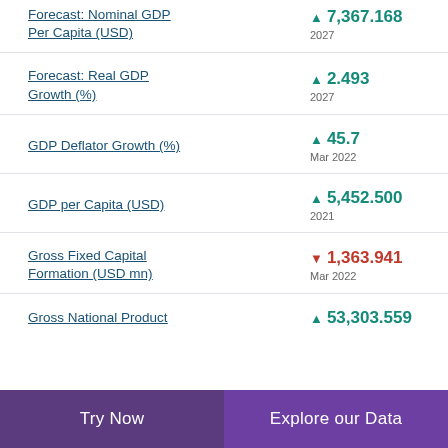Forecast: Nominal GDP Per Capita (USD)
Forecast: Real GDP Growth (%)
GDP Deflator Growth (%)
GDP per Capita (USD)
Gross Fixed Capital Formation (USD mn)
Gross National Product
Try Now | Explore our Data